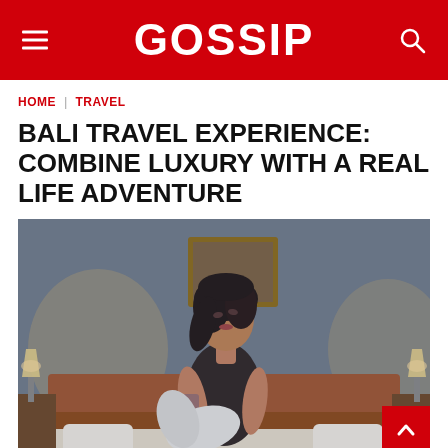GOSSIP
HOME | TRAVEL
BALI TRAVEL EXPERIENCE: COMBINE LUXURY WITH A REAL LIFE ADVENTURE
[Figure (photo): A woman with dark curly hair and tattoos sits on a hotel bed wearing black lingerie and holding a white robe, with bedside lamps and a framed picture on the wall behind her.]